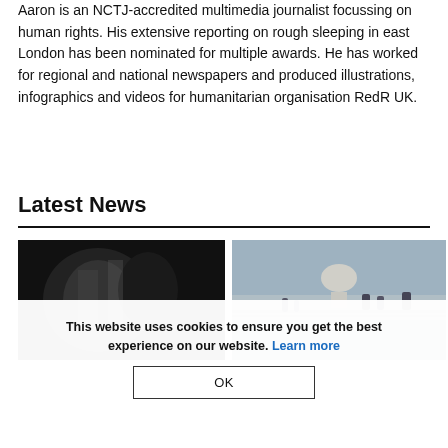Aaron is an NCTJ-accredited multimedia journalist focussing on human rights. His extensive reporting on rough sleeping in east London has been nominated for multiple awards. He has worked for regional and national newspapers and produced illustrations, infographics and videos for humanitarian organisation RedR UK.
Latest News
[Figure (photo): Dark/black and white close-up photo, silhouette-like image]
[Figure (photo): Outdoor photo showing people on a bridge with St Paul's Cathedral dome visible in background, cloudy sky]
This website uses cookies to ensure you get the best experience on our website. Learn more
OK